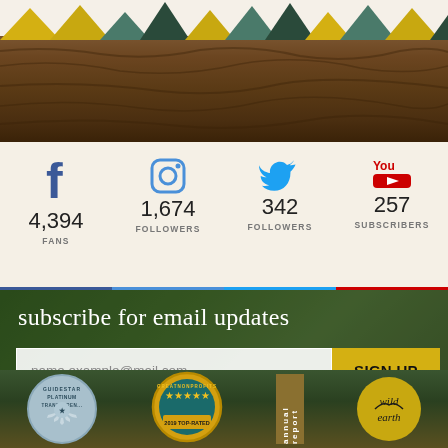[Figure (photo): Top banner with colorful mountain/triangle silhouettes and tree bark texture background]
[Figure (infographic): Social media stats row: Facebook 4,394 Fans, Instagram 1,674 Followers, Twitter 342 Followers, YouTube 257 Subscribers]
subscribe for email updates
name.example@mail.com
SIGN UP
We will never sell/distribute your contact info to any 3rd parties.
[Figure (logo): Bottom badges: Guidestar Platinum Transparency badge, GreatNonprofits 2019 Top-Rated badge, Annual Report label, Wild Earth logo]